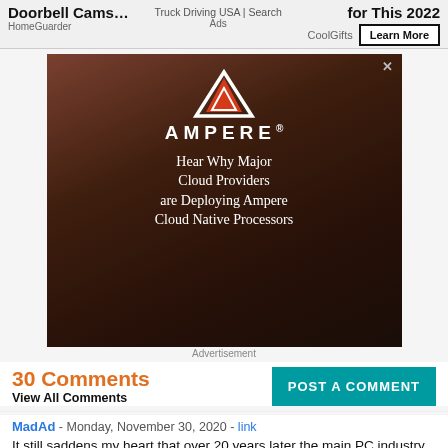Doorbell Cams... | Truck Driving USA | Search Ads | for This 2022 | HomeGuarder | CoolGifts | Learn More
[Figure (photo): Ampere advertisement banner showing logo, brand name, and tagline: Hear Why Major Cloud Providers are Deploying Ampere Cloud Native Processors]
Advertisement
30 Comments
View All Comments
POST A COMMENT
MadAd - Monday, November 30, 2020 - link
It still saddens my heart that over 20 years later the main PC industry still makes out that this outsized outdated form format which must only be fully populated by an absolute outlier user is